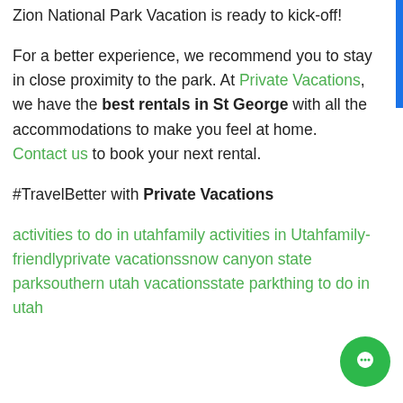Zion National Park Vacation is ready to kick-off!
For a better experience, we recommend you to stay in close proximity to the park. At Private Vacations, we have the best rentals in St George with all the accommodations to make you feel at home. Contact us to book your next rental.
#TravelBetter with Private Vacations
activities to do in utahfamily activities in Utahfamily-friendlyprivate vacationssnow canyon state parksouthern utah vacationsstate parkthing to do in utah